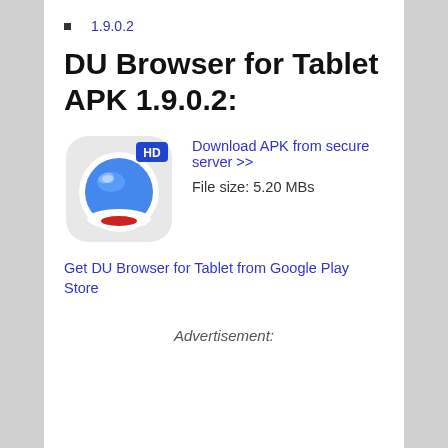1.9.0.2
DU Browser for Tablet APK 1.9.0.2:
[Figure (logo): DU Browser for Tablet app icon — a round astronaut helmet with blue globe inside, HD badge, on a light gray rounded square background]
Download APK from secure server >>
File size: 5.20 MBs
Get DU Browser for Tablet from Google Play Store
Advertisement: